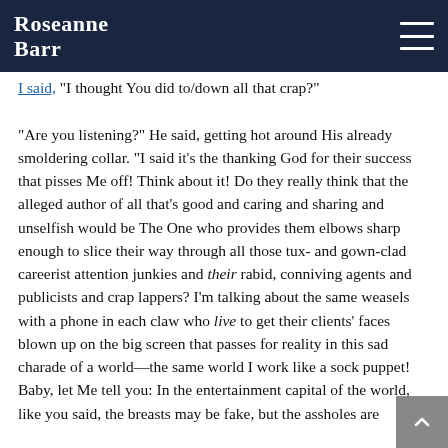Roseanne Barr
I said, "I thought You did to/down all that crap?"
“Are you listening?” He said, getting hot around His already smoldering collar. “I said it’s the thanking God for their success that pisses Me off! Think about it! Do they really think that the alleged author of all that’s good and caring and sharing and unselfish would be The One who provides them elbows sharp enough to slice their way through all those tux- and gown-clad careerist attention junkies and their rabid, conniving agents and publicists and crap lappers? I’m talking about the same weasels with a phone in each claw who live to get their clients’ faces blown up on the big screen that passes for reality in this sad charade of a world—the same world I work like a sock puppet! Baby, let Me tell you: In the entertainment capital of the world, like you said, the breasts may be fake, but the assholes are